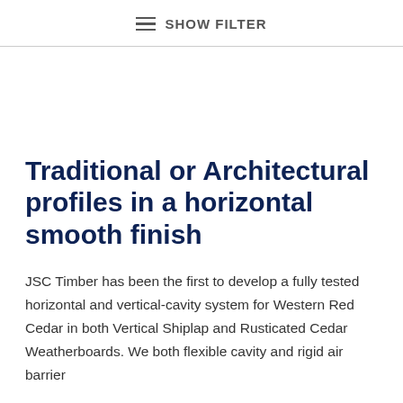SHOW FILTER
Traditional or Architectural profiles in a horizontal smooth finish
JSC Timber has been the first to develop a fully tested horizontal and vertical-cavity system for Western Red Cedar in both Vertical Shiplap and Rusticated Cedar Weatherboards. We both flexible cavity and rigid air barrier